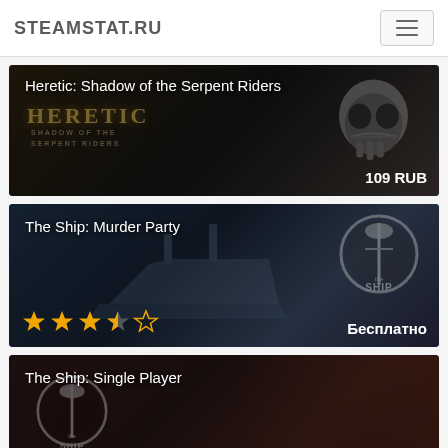STEAMSTAT.RU
[Figure (screenshot): Game card for Heretic: Shadow of the Serpent Riders with dark background showing skull art and Heretic logo text. Price: 109 RUB]
Heretic: Shadow of the Serpent Riders
109 RUB
[Figure (screenshot): Game card for The Ship: Murder Party with dark ship background and The Ship circular logo. Rating: 3.5 stars. Price: Бесплатно]
The Ship: Murder Party
Бесплатно
[Figure (screenshot): Game card for The Ship: Single Player with dark reddish background and The Ship circular logo partially visible]
The Ship: Single Player